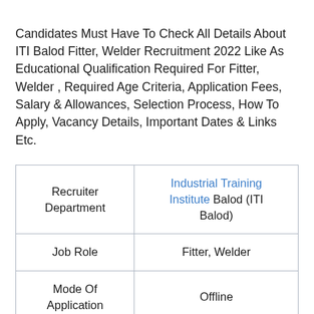Candidates Must Have To Check All Details About ITI Balod Fitter, Welder Recruitment 2022 Like As Educational Qualification Required For Fitter, Welder , Required Age Criteria, Application Fees, Salary & Allowances, Selection Process, How To Apply, Vacancy Details, Important Dates & Links Etc.
| Recruiter Department | Industrial Training Institute Balod (ITI Balod) |
| Job Role | Fitter, Welder |
| Mode Of Application | Offline |